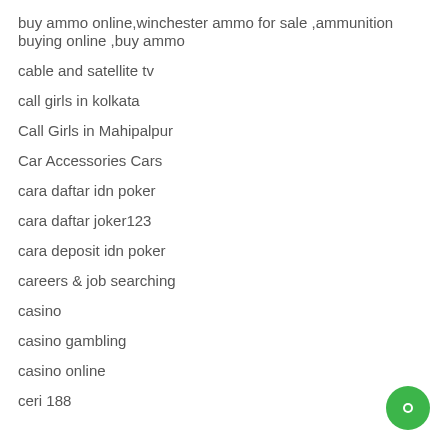buy ammo online,winchester ammo for sale ,ammunition buying online ,buy ammo
cable and satellite tv
call girls in kolkata
Call Girls in Mahipalpur
Car Accessories Cars
cara daftar idn poker
cara daftar joker123
cara deposit idn poker
careers & job searching
casino
casino gambling
casino online
ceri 188